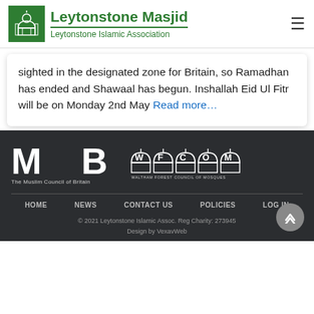Leytonstone Masjid — Leytonstone Islamic Association
sighted in the designated zone for Britain, so Ramadhan has ended and Shawaal has begun. Inshallah Eid Ul Fitr will be on Monday 2nd May Read more…
[Figure (logo): MCB – The Muslim Council of Britain logo (white on dark)]
[Figure (logo): WFCOM – Waltham Forest Council of Mosques logo (white on dark)]
HOME   NEWS   CONTACT US   POLICIES   LOG IN
© 2021 Leytonstone Islamic Assoc. Reg Charity: 273945
Design by VexavWeb